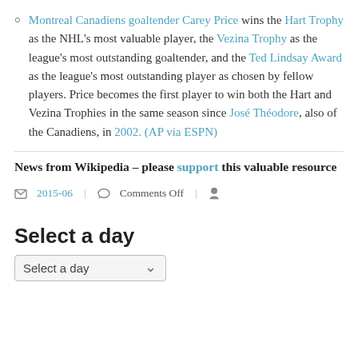Montreal Canadiens goaltender Carey Price wins the Hart Trophy as the NHL's most valuable player, the Vezina Trophy as the league's most outstanding goaltender, and the Ted Lindsay Award as the league's most outstanding player as chosen by fellow players. Price becomes the first player to win both the Hart and Vezina Trophies in the same season since José Théodore, also of the Canadiens, in 2002. (AP via ESPN)
News from Wikipedia – please support this valuable resource
2015-06   Comments Off
Select a day